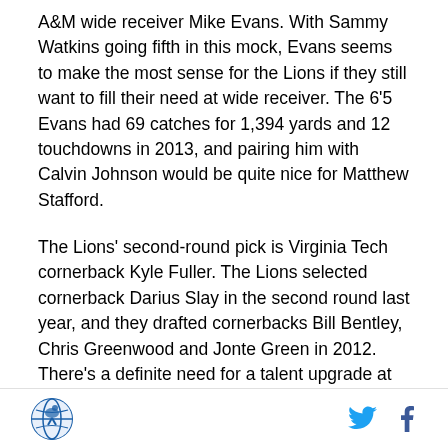A&M wide receiver Mike Evans. With Sammy Watkins going fifth in this mock, Evans seems to make the most sense for the Lions if they still want to fill their need at wide receiver. The 6'5 Evans had 69 catches for 1,394 yards and 12 touchdowns in 2013, and pairing him with Calvin Johnson would be quite nice for Matthew Stafford.
The Lions' second-round pick is Virginia Tech cornerback Kyle Fuller. The Lions selected cornerback Darius Slay in the second round last year, and they drafted cornerbacks Bill Bentley, Chris Greenwood and Jonte Green in 2012. There's a definite need for a talent upgrade at the position, and I suppose throwing Fuller into the mix could help down the road. Then
[logo] [twitter] [facebook]